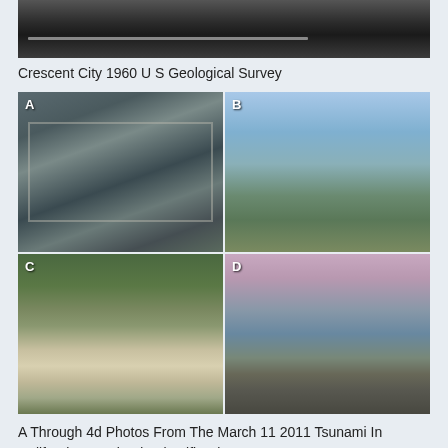[Figure (photo): Aerial black and white photograph of Crescent City 1960 US Geological Survey]
Crescent City 1960 U S Geological Survey
[Figure (photo): Four-panel photo grid (A, B, C, D) showing locations affected by the March 11 2011 Tsunami in California. Panel A: aerial view of marina/harbor with debris. Panel B: wide coastal bay view with bridge in background. Panel C: marina with boats being hit by tsunami surge. Panel D: coastal harbor scene with docked vessels.]
A Through 4d Photos From The March 11 2011 Tsunami In California Download Scientific Diagram